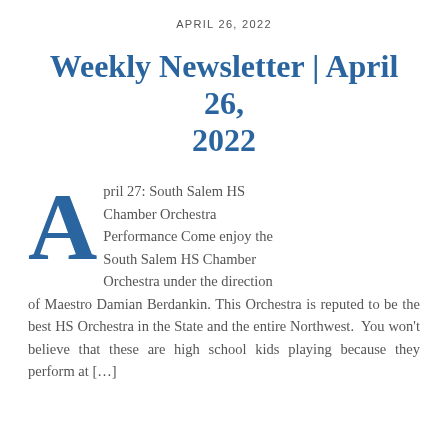APRIL 26, 2022
Weekly Newsletter | April 26, 2022
April 27: South Salem HS Chamber Orchestra Performance Come enjoy the South Salem HS Chamber Orchestra under the direction of Maestro Damian Berdankin. This Orchestra is reputed to be the best HS Orchestra in the State and the entire Northwest.  You won’t believe that these are high school kids playing because they perform at […]